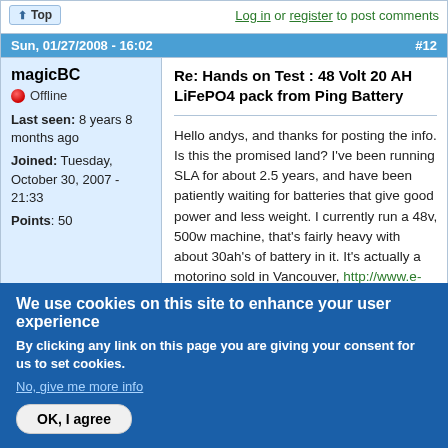↑ Top   Log in or register to post comments
Sun, 01/27/2008 - 16:02   #12
magicBC
Offline
Last seen: 8 years 8 months ago
Joined: Tuesday, October 30, 2007 - 21:33
Points: 50
Re: Hands on Test : 48 Volt 20 AH LiFePO4 pack from Ping Battery
Hello andys, and thanks for posting the info. Is this the promised land? I've been running SLA for about 2.5 years, and have been patiently waiting for batteries that give good power and less weight. I currently run a 48v, 500w machine, that's fairly heavy with about 30ah's of battery in it. It's actually a motorino sold in Vancouver, http://www.e-ride.ca/Electric_Scooters/Motorino_XPi.html and the range is limited to about 25km
We use cookies on this site to enhance your user experience
By clicking any link on this page you are giving your consent for us to set cookies.
No, give me more info
OK, I agree